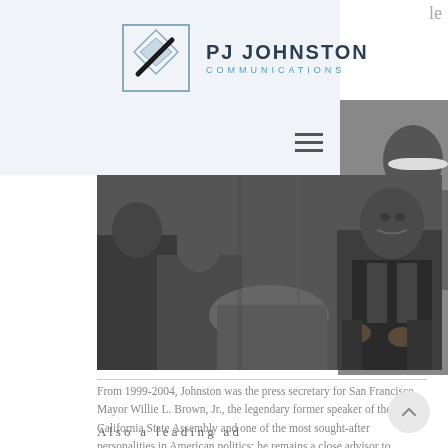[Figure (logo): PJ Johnston Communications logo with geometric diamond/square icon and text]
[Figure (photo): Black and white photograph of people seated, including a man in a suit looking at the camera, likely Willie L. Brown Jr.]
From 1999-2004, Johnston was the press secretary for San Francisco Mayor Willie L. Brown, Jr., the legendary former speaker of the California State Assembly and one of the most sought-after personalities in American politics; he remains a close advisor to Brown, who is now a columnist for the San Francisco Chronicle.